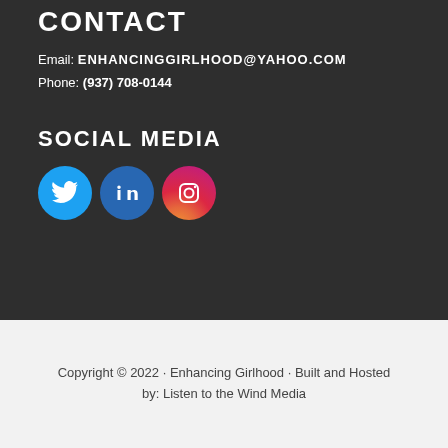CONTACT
Email: ENHANCINGGIRLHOOD@YAHOO.COM
Phone: (937) 708-0144
SOCIAL MEDIA
[Figure (illustration): Three social media icons: Twitter (blue circle), LinkedIn (blue circle), Instagram (gradient circle)]
Copyright © 2022 · Enhancing Girlhood · Built and Hosted by: Listen to the Wind Media